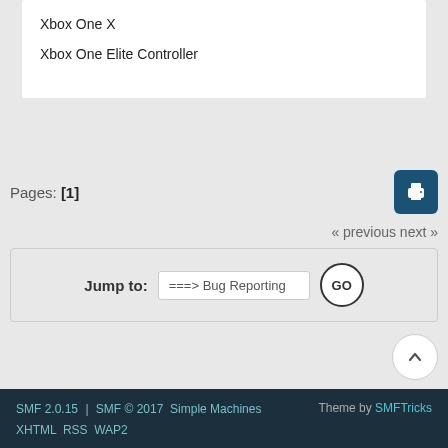Xbox One X
Xbox One Elite Controller
Pages: [1]
« previous next »
Jump to: ===> Bug Reporting  GO
SMF 2.0.15 | SMF © 2017  Simple Machines  XHTML RSS WAP2    Theme by SMFTricks